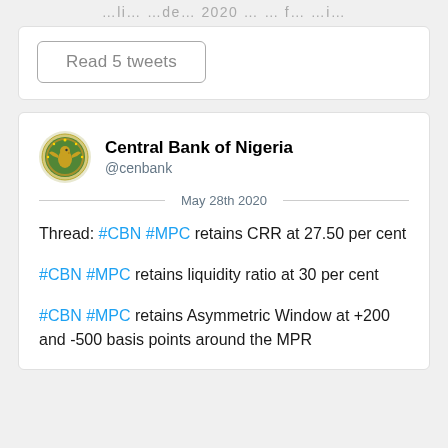…li… …de… 2020 … … f… …i…
Read 5 tweets
Central Bank of Nigeria
@cenbank
May 28th 2020
Thread: #CBN #MPC retains CRR at 27.50 per cent
#CBN #MPC retains liquidity ratio at 30 per cent
#CBN #MPC retains Asymmetric Window at +200 and -500 basis points around the MPR